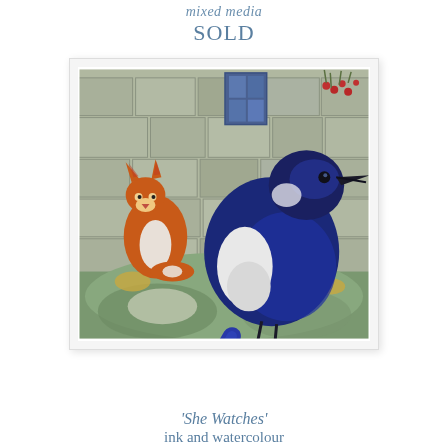mixed media
SOLD
[Figure (illustration): Watercolour and ink illustration showing a magpie bird in the foreground (dark blue/black with white markings) and a red fox sitting against a stone wall in the background. The setting appears to be a garden or courtyard with stone walls and autumn foliage.]
'She Watches'
ink and watercolour